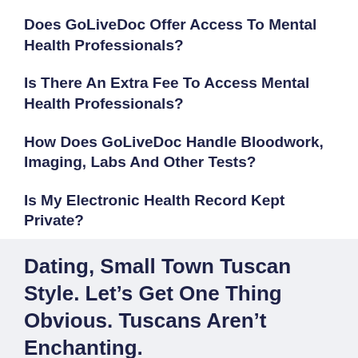Does GoLiveDoc Offer Access To Mental Health Professionals?
Is There An Extra Fee To Access Mental Health Professionals?
How Does GoLiveDoc Handle Bloodwork, Imaging, Labs And Other Tests?
Is My Electronic Health Record Kept Private?
Dating, Small Town Tuscan Style. Let’s Get One Thing Obvious. Tuscans Aren’t Enchanting.
It’s Likely You Have This Picture Of Extremely Passionate And